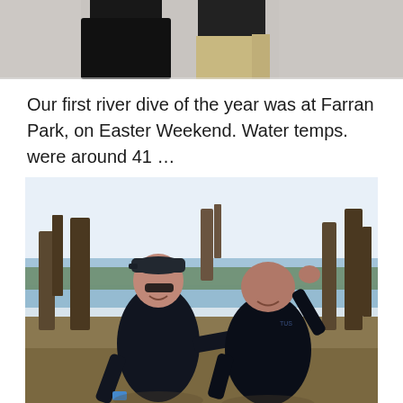[Figure (photo): Cropped top portion of a photo showing two people from roughly waist down - one in a dark/black top, the other in khaki/tan pants]
Our first river dive of the year was at Farran Park, on Easter Weekend. Water temps. were around 41 …
[Figure (photo): Two people in black drysuits/wetsuits posing playfully outdoors near a river, trees visible in background, sunny day with brown grass. One person wearing a cap and sunglasses, both laughing and making funny poses.]